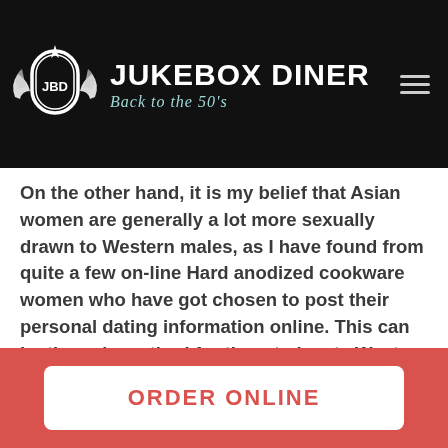[Figure (logo): Jukebox Diner logo with winged emblem, text 'JUKEBOX DINER' and subtitle 'Back to the 50's' on black background]
On the other hand, it is my belief that Asian women are generally a lot more sexually drawn to Western males, as I have found from quite a few on-line Hard anodized cookware women who have got chosen to post their personal dating information online. This can be the only method for them to locate Western males, and I would probably think the rule of thumb is normally something along the lines of: If a woman doesn't declare anything, your
ORDER ONLINE